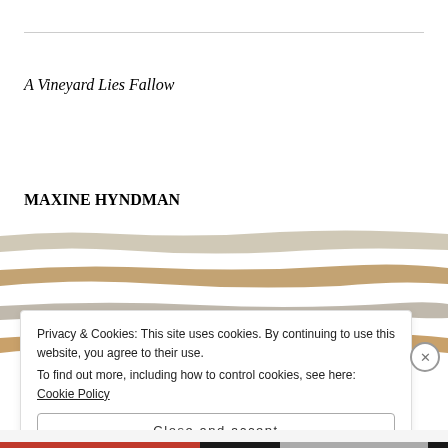A Vineyard Lies Fallow
MAXINE HYNDMAN
[Figure (illustration): Decorative horizontal brush strokes in alternating tan/beige and warm brown colors, resembling fallow vineyard rows]
Privacy & Cookies: This site uses cookies. By continuing to use this website, you agree to their use.
To find out more, including how to control cookies, see here: Cookie Policy
Close and accept